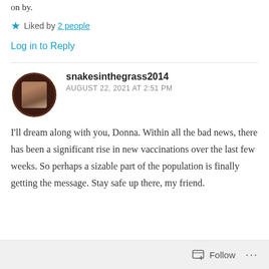on by.
★ Liked by 2 people
Log in to Reply
snakesinthegrass2014
AUGUST 22, 2021 AT 2:51 PM
I'll dream along with you, Donna. Within all the bad news, there has been a significant rise in new vaccinations over the last few weeks. So perhaps a sizable part of the population is finally getting the message. Stay safe up there, my friend.
Follow ...